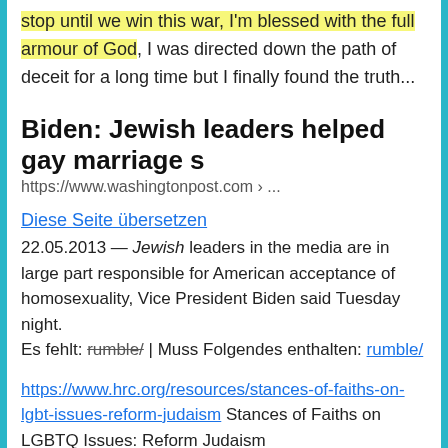stop until we win this war, I'm blessed with the full armour of God, I was directed down the path of deceit for a long time but I finally found the truth...
Biden: Jewish leaders helped gay marriage s
https://www.washingtonpost.com › ...
Diese Seite übersetzen
22.05.2013 — Jewish leaders in the media are in large part responsible for American acceptance of homosexuality, Vice President Biden said Tuesday night. Es fehlt: rumble/ | Muss Folgendes enthalten: rumble/
https://www.hrc.org/resources/stances-of-faiths-on-lgbt-issues-reform-judaism Stances of Faiths on LGBTQ Issues: Reform Judaism
Stances of Faiths on LGBTQ Issues: Reform Judaism